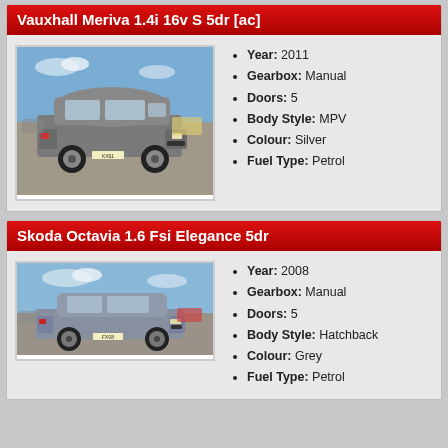Vauxhall Meriva 1.4i 16v S 5dr [ac]
[Figure (photo): Grey Vauxhall Meriva MPV car in a car park]
Year: 2011
Gearbox: Manual
Doors: 5
Body Style: MPV
Colour: Silver
Fuel Type: Petrol
Skoda Octavia 1.6 Fsi Elegance 5dr
[Figure (photo): Grey Skoda Octavia hatchback in a car park]
Year: 2008
Gearbox: Manual
Doors: 5
Body Style: Hatchback
Colour: Grey
Fuel Type: Petrol